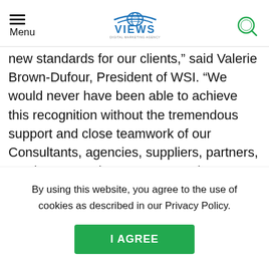Menu | VIEWS DIGITAL MARKETING AGENCY
new standards for our clients," said Valerie Brown-Dufour, President of WSI. “We would never have been able to achieve this recognition without the tremendous support and close teamwork of our Consultants, agencies, suppliers, partners, employees, and customers. It’s time to say a big ‘Thank You and cheers’ to the incredible WSI team.”
By using this website, you agree to the use of cookies as described in our Privacy Policy.
I AGREE